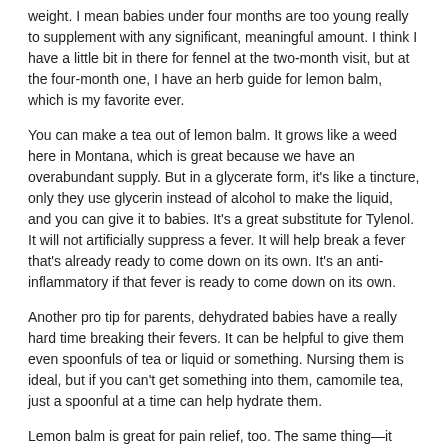weight. I mean babies under four months are too young really to supplement with any significant, meaningful amount. I think I have a little bit in there for fennel at the two-month visit, but at the four-month one, I have an herb guide for lemon balm, which is my favorite ever.
You can make a tea out of lemon balm. It grows like a weed here in Montana, which is great because we have an overabundant supply. But in a glycerate form, it's like a tincture, only they use glycerin instead of alcohol to make the liquid, and you can give it to babies. It's a great substitute for Tylenol. It will not artificially suppress a fever. It will help break a fever that's already ready to come down on its own. It's an anti-inflammatory if that fever is ready to come down on its own.
Another pro tip for parents, dehydrated babies have a really hard time breaking their fevers. It can be helpful to give them even spoonfuls of tea or liquid or something. Nursing them is ideal, but if you can't get something into them, camomile tea, just a spoonful at a time can help hydrate them.
Lemon balm is great for pain relief, too. The same thing—it doesn't block the pain like Tylenol does, which by the way, Tylenol works by an unknown mechanism in the brain. It's centrally acting. It works at the brain itself—a little disturbing because we don't know what's happening. We don't know whether the negative effects of Tylenol are from glutathione reduction or from actually working directly on our endocannabinoid system, which is super disturbing. We don't know what it's doing.